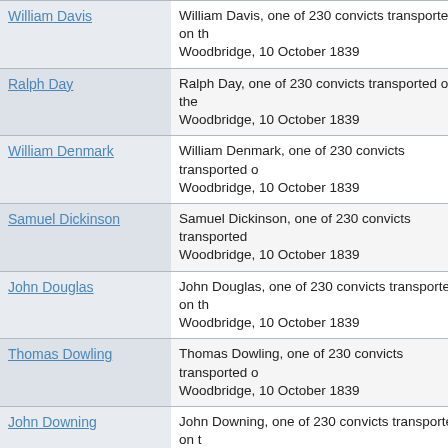| Name | Description |
| --- | --- |
| William Davis | William Davis, one of 230 convicts transported on the Woodbridge, 10 October 1839 |
| Ralph Day | Ralph Day, one of 230 convicts transported on the Woodbridge, 10 October 1839 |
| William Denmark | William Denmark, one of 230 convicts transported on the Woodbridge, 10 October 1839 |
| Samuel Dickinson | Samuel Dickinson, one of 230 convicts transported on the Woodbridge, 10 October 1839 |
| John Douglas | John Douglas, one of 230 convicts transported on the Woodbridge, 10 October 1839 |
| Thomas Dowling | Thomas Dowling, one of 230 convicts transported on the Woodbridge, 10 October 1839 |
| John Downing | John Downing, one of 230 convicts transported on the Woodbridge, 10 October 1839 |
| Francis Duff | Francis Duff, one of 230 convicts transported on the Woodbridge, 10 October 1839 |
| Henry Dunford | Henry Dunford, one of 230 convicts transported on the Woodbridge, 10 October 1839 |
| John Elliott | John Elliott, one of 230 convicts transported on the Woodbridge, 10 October 1839 |
| Richard Evans | Richard Evans, one of 230 convicts transported on the Woodbridge, 10 October 1839 |
| James Farrell | James Farrell, one of 230 convicts transported on the Woodbridge, 10 October 1839 |